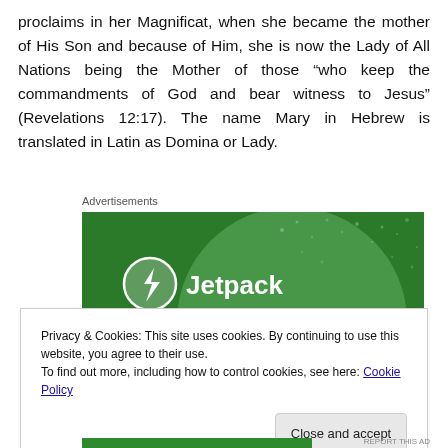proclaims in her Magnificat, when she became the mother of His Son and because of Him, she is now the Lady of All Nations being the Mother of those “who keep the commandments of God and bear witness to Jesus” (Revelations 12:17). The name Mary in Hebrew is translated in Latin as Domina or Lady.
Advertisements
[Figure (other): Jetpack advertisement banner with green background, circular shape, white Jetpack logo with lightning bolt icon, and partial text at the bottom.]
Privacy & Cookies: This site uses cookies. By continuing to use this website, you agree to their use.
To find out more, including how to control cookies, see here: Cookie Policy
Close and accept